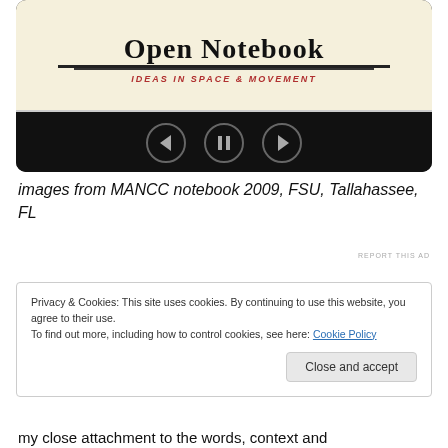[Figure (screenshot): A slideshow/media player showing an 'Open Notebook: Ideas in Space & Movement' banner on a notebook-paper background with navigation controls (back, pause, forward) on a black bar below.]
images from MANCC notebook 2009, FSU, Tallahassee, FL
REPORT THIS AD
Privacy & Cookies: This site uses cookies. By continuing to use this website, you agree to their use.
To find out more, including how to control cookies, see here: Cookie Policy
Close and accept
my close attachment to the words, context and